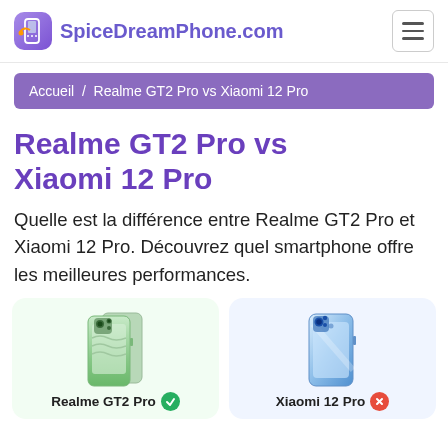SpiceDreamPhone.com
Accueil / Realme GT2 Pro vs Xiaomi 12 Pro
Realme GT2 Pro vs Xiaomi 12 Pro
Quelle est la différence entre Realme GT2 Pro et Xiaomi 12 Pro. Découvrez quel smartphone offre les meilleures performances.
[Figure (photo): Realme GT2 Pro smartphone image (green) with green badge checkmark]
[Figure (photo): Xiaomi 12 Pro smartphone image (blue) with red badge X]